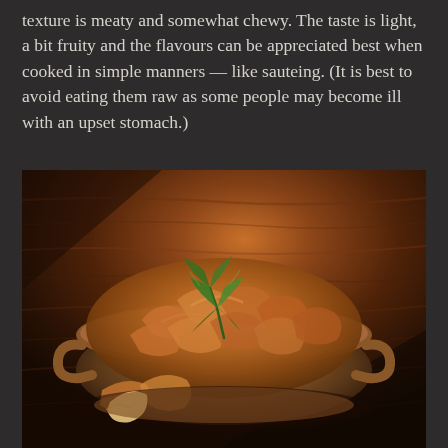texture is meaty and somewhat chewy. The taste is light, a bit fruity and the flavours can be appreciated best when cooked in simple manners — like sauteing. (It is best to avoid eating them raw as some people may become ill with an upset stomach.)
[Figure (photo): A ceramic bowl filled with cooked chanterelle mushrooms garnished with a sprig of fresh parsley/cilantro, set on a dark wooden surface. Warm amber and orange tones dominate the photograph.]